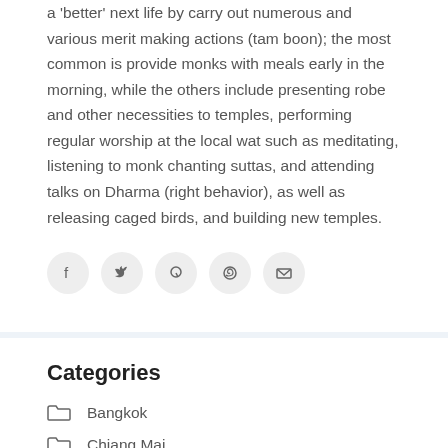a 'better' next life by carry out numerous and various merit making actions (tam boon); the most common is provide monks with meals early in the morning, while the others include presenting robe and other necessities to temples, performing regular worship at the local wat such as meditating, listening to monk chanting suttas, and attending talks on Dharma (right behavior), as well as releasing caged birds, and building new temples.
[Figure (other): Social media sharing icons: Facebook, Twitter, Pinterest, WhatsApp, Email]
Categories
Bangkok
Chiang Mai